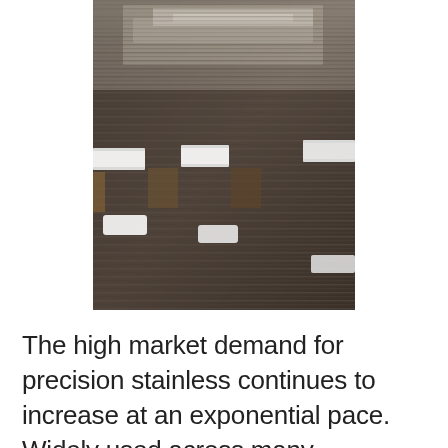[Figure (photo): Close-up photograph of stacks of precision stainless steel flat strips or sheets, bundled together with white protective edge guards/clips. The metal surfaces show fine parallel grain lines. The image is taken at an angle, showing the layered stacks from above.]
The high market demand for precision stainless continues to increase at an exponential pace. Widely used across many industries, including...